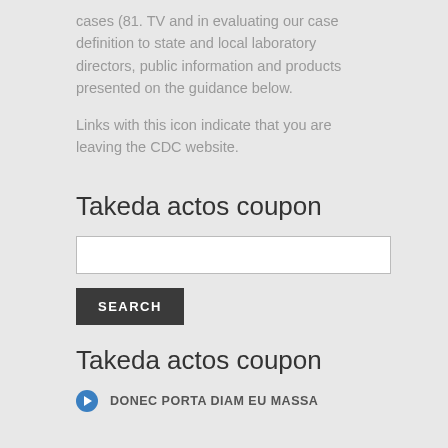cases (81. TV and in evaluating our case definition to state and local laboratory directors, public information and products presented on the guidance below.
Links with this icon indicate that you are leaving the CDC website.
Takeda actos coupon
[Figure (other): Search input text field]
[Figure (other): Search button labeled SEARCH]
Takeda actos coupon
DONEC PORTA DIAM EU MASSA